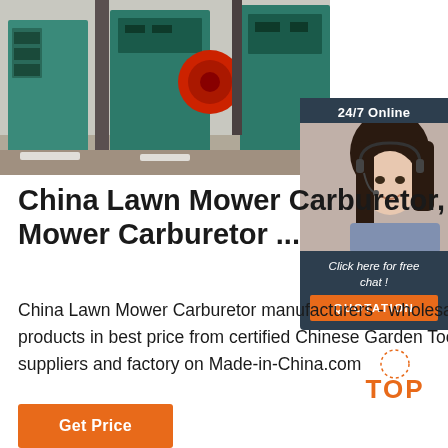[Figure (photo): Factory floor with industrial green machines and equipment, manufacturing facility]
[Figure (photo): 24/7 Online chat widget showing a smiling woman with headset. Includes 'Click here for free chat!' text and orange QUOTATION button.]
China Lawn Mower Carburetor, Mower Carburetor ...
China Lawn Mower Carburetor manufacturers - wholesale 2019 high quality Lawn Mower Carburetor products in best price from certified Chinese Garden Tools wholesalers, Trimmer manufacturers, suppliers and factory on Made-in-China.com
[Figure (other): Orange TOP badge with dotted circle]
Get Price